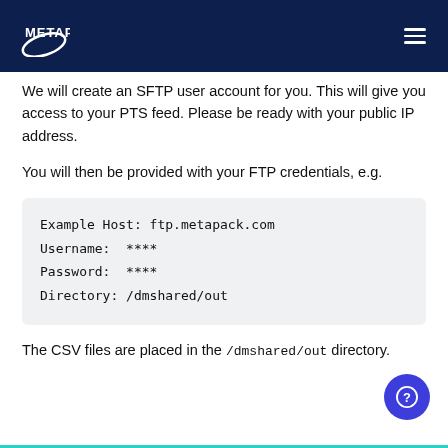METAPACK
We will create an SFTP user account for you. This will give you access to your PTS feed. Please be ready with your public IP address.
You will then be provided with your FTP credentials, e.g.
Example Host: ftp.metapack.com
Username:  ****
Password:  ****
Directory: /dmshared/out
The CSV files are placed in the /dmshared/out directory.